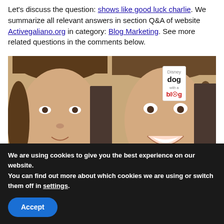Let's discuss the question: shows like good luck charlie. We summarize all relevant answers in section Q&A of website Activegaliano.org in category: Blog Marketing. See more related questions in the comments below.
[Figure (photo): Two young women/girls side by side, photo thumbnail for a YouTube video titled 'REACTING TO MY OLD DISNEY SHOWS'. A 'Dog with a Blog' Disney logo badge appears in the upper right area of the image. The bottom center shows a light-blue bar with text 'REACTING TO MY OLD DISNEY SHOWS' in bold black letters.]
We are using cookies to give you the best experience on our website.
You can find out more about which cookies we are using or switch them off in settings.